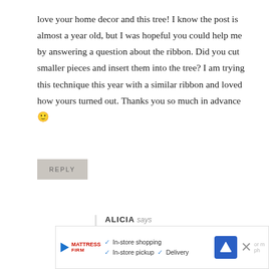love your home decor and this tree! I know the post is almost a year old, but I was hopeful you could help me by answering a question about the ribbon. Did you cut smaller pieces and insert them into the tree? I am trying this technique this year with a similar ribbon and loved how yours turned out. Thanks you so much in advance 🙂
REPLY
ALICIA says
November 12, 2019 at 12:57 pm
Thank you, Rebekah! We're so glad you found us on Pinterest, and always feel free to comment or
[Figure (infographic): Advertisement banner for Mattress Firm showing in-store shopping, in-store pickup, and delivery options with a navigation/map icon and close button]